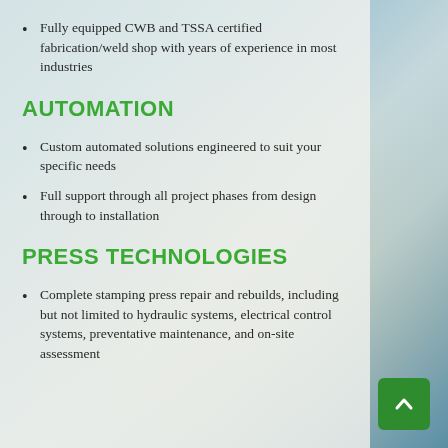Fully equipped CWB and TSSA certified fabrication/weld shop with years of experience in most industries
AUTOMATION
Custom automated solutions engineered to suit your specific needs
Full support through all project phases from design through to installation
PRESS TECHNOLOGIES
Complete stamping press repair and rebuilds, including but not limited to hydraulic systems, electrical control systems, preventative maintenance, and on-site assessment